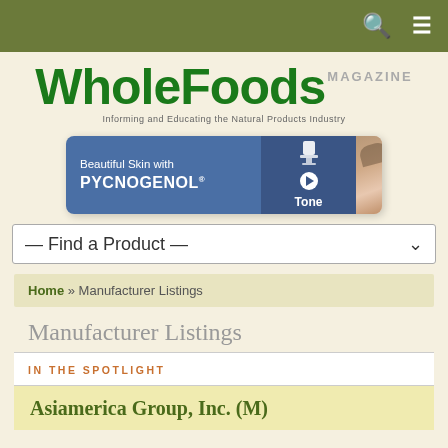[Figure (screenshot): WholeFoods Magazine website screenshot showing logo, Pycnogenol ad banner, Find a Product dropdown, breadcrumb navigation, Manufacturer Listings page title, and In The Spotlight section with Asiamerica Group, Inc. listing]
WholeFoods MAGAZINE
Informing and Educating the Natural Products Industry
[Figure (illustration): Beautiful Skin with PYCNOGENOL advertisement banner with lamp icon and play button, showing Tone caption and close-up of woman's eye]
— Find a Product —
Home » Manufacturer Listings
Manufacturer Listings
IN THE SPOTLIGHT
Asiamerica Group, Inc. (M)